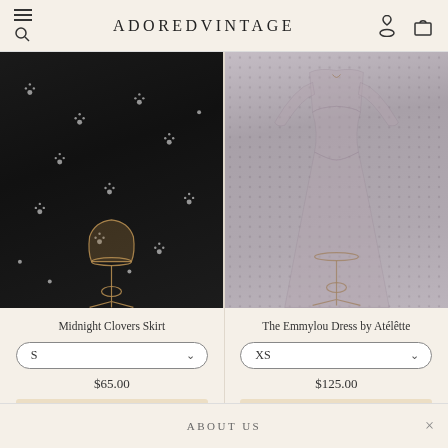ADOREDVINTAGE
[Figure (photo): Black floral skirt on a vintage dress form/mannequin stand, white floral pattern on dark fabric]
[Figure (photo): Gray/taupe long-sleeve midi dress on a vintage dress form/mannequin stand, small dot pattern]
Midnight Clovers Skirt
The Emmylou Dress by Atélette
S
XS
$65.00
$125.00
ADD TO CART
ADD TO CART
ABOUT US